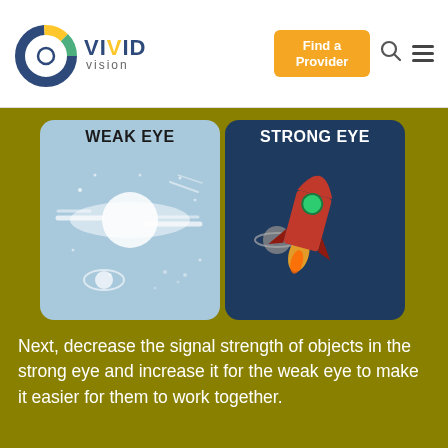[Figure (logo): Vivid Vision logo with circular icon and text 'VIVID vision']
[Figure (illustration): Two side-by-side panels showing WEAK EYE (light blue with blurry star/planet imagery) and STRONG EYE (dark blue with rocket ship and planet imagery) representing dichoptic vision therapy]
Next, decrease the signal strength of objects in the strong eye and increase it for the weak eye to make it easier for them to work together.